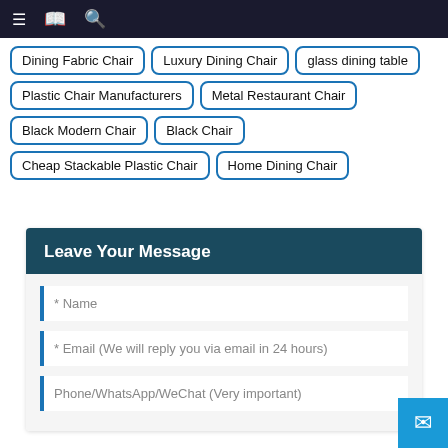≡ 🔖 🔍
Dining Fabric Chair
Luxury Dining Chair
glass dining table
Plastic Chair Manufacturers
Metal Restaurant Chair
Black Modern Chair
Black Chair
Cheap Stackable Plastic Chair
Home Dining Chair
Leave Your Message
* Name
* Email (We will reply you via email in 24 hours)
Phone/WhatsApp/WeChat (Very important)